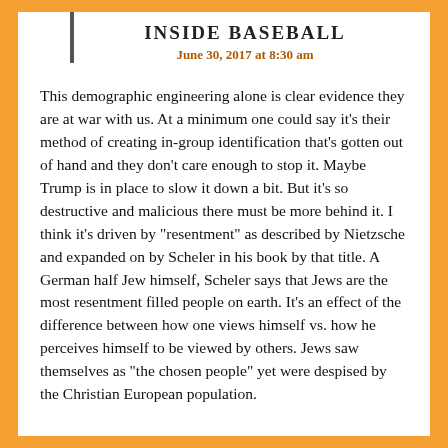INSIDE BASEBALL
June 30, 2017 at 8:30 am
This demographic engineering alone is clear evidence they are at war with us. At a minimum one could say it’s their method of creating in-group identification that’s gotten out of hand and they don’t care enough to stop it. Maybe Trump is in place to slow it down a bit. But it’s so destructive and malicious there must be more behind it. I think it’s driven by “resentment” as described by Nietzsche and expanded on by Scheler in his book by that title. A German half Jew himself, Scheler says that Jews are the most resentment filled people on earth. It’s an effect of the difference between how one views himself vs. how he perceives himself to be viewed by others. Jews saw themselves as “the chosen people” yet were despised by the Christian European population.